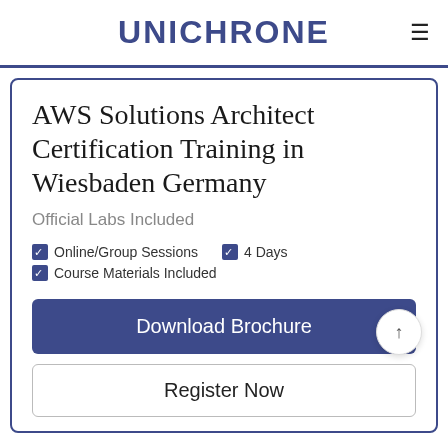UNICHRONE
AWS Solutions Architect Certification Training in Wiesbaden Germany
Official Labs Included
Online/Group Sessions
4 Days
Course Materials Included
Download Brochure
Register Now